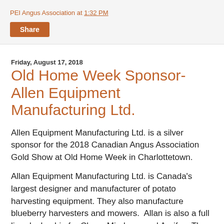PEI Angus Association at 1:32 PM
Share
Friday, August 17, 2018
Old Home Week Sponsor-Allen Equipment Manufacturing Ltd.
Allen Equipment Manufacturing Ltd. is a silver sponsor for the 2018 Canadian Angus Association Gold Show at Old Home Week in Charlottetown.
Allan Equipment Manufacturing Ltd. is Canada's largest designer and manufacturer of potato harvesting equipment. They also manufacture blueberry harvesters and mowers.  Allan is also a full line dealership for Claas, Miedema and Agrifac. They have been serving the needs of our farm community by manufacturing quality equipment for over 50 years and are proud to be Prince Edward Island owned and operated. Our 60,000 square foot facility includes a large parts inventory and full service